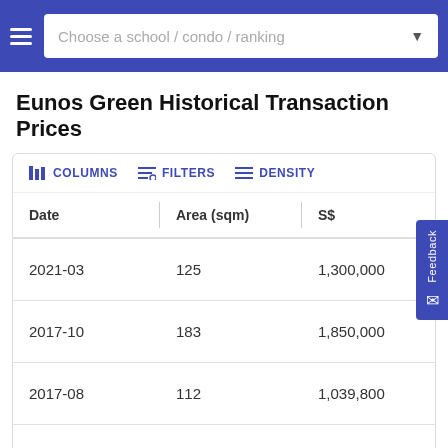Choose a school / condo / ranking
Eunos Green Historical Transaction Prices
| Date | Area (sqm) | S$ | S$ per sqm |
| --- | --- | --- | --- |
| 2021-03 | 125 | 1,300,000 | 10,400 |
| 2017-10 | 183 | 1,850,000 | 10,109 |
| 2017-08 | 112 | 1,039,800 | 9,284 |
| 2016-12 | 125 | 1,080,000 | 8,640 |